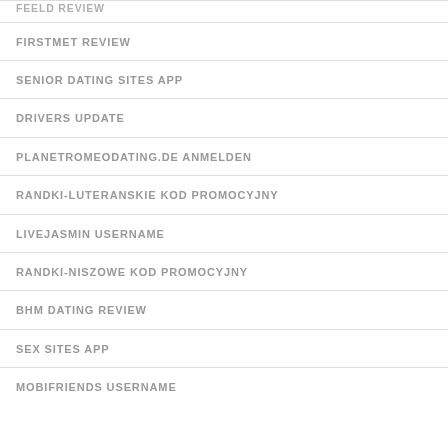FEELD REVIEW
FIRSTMET REVIEW
SENIOR DATING SITES APP
DRIVERS UPDATE
PLANETROMEODATING.DE ANMELDEN
RANDKI-LUTERANSKIE KOD PROMOCYJNY
LIVEJASMIN USERNAME
RANDKI-NISZOWE KOD PROMOCYJNY
BHM DATING REVIEW
SEX SITES APP
MOBIFRIENDS USERNAME